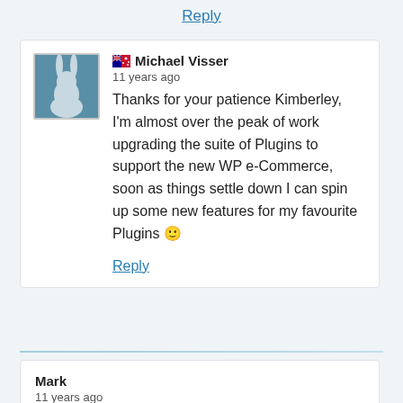Reply
Michael Visser
11 years ago
Thanks for your patience Kimberley, I'm almost over the peak of work upgrading the suite of Plugins to support the new WP e-Commerce, soon as things settle down I can spin up some new features for my favourite Plugins 🙂
Reply
Mark
11 years ago
Hi Michael,